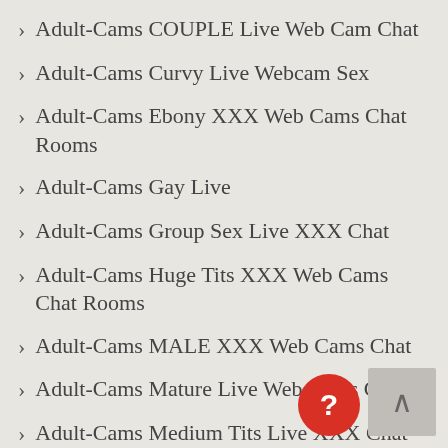Adult-Cams COUPLE Live Web Cam Chat
Adult-Cams Curvy Live Webcam Sex
Adult-Cams Ebony XXX Web Cams Chat Rooms
Adult-Cams Gay Live
Adult-Cams Group Sex Live XXX Chat
Adult-Cams Huge Tits XXX Web Cams Chat Rooms
Adult-Cams MALE XXX Web Cams Chat
Adult-Cams Mature Live Web Cams Chat
Adult-Cams Medium Tits Live XXX Chat
Adult-Cams MILF Live Webcam Sex
Adult-Cams MILF Live XXX Chat
Adult-Cams Muscle Guys Hot Video
Adult-Cams Muscle Live XXX Chat Room